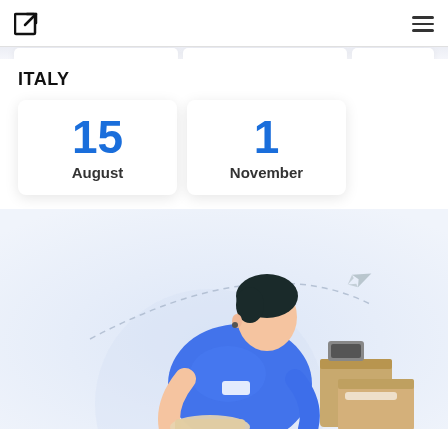Navigation header with logo and menu icon
ITALY
15 August
1 November
[Figure (illustration): Person in blue shirt packing or checking shipping boxes, with a dashed arc line and airplane icon suggesting international shipping or delivery, against a light blue-grey gradient background. Cardboard shipping boxes visible on the right.]